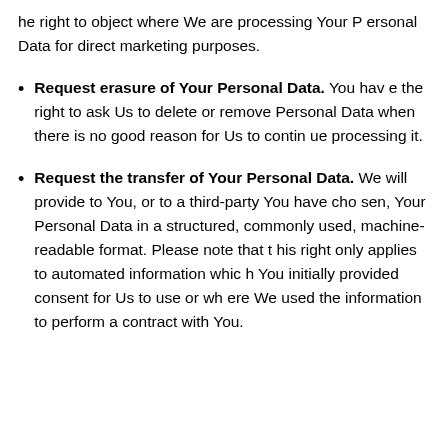he right to object where We are processing Your Personal Data for direct marketing purposes.
Request erasure of Your Personal Data. You have the right to ask Us to delete or remove Personal Data when there is no good reason for Us to continue processing it.
Request the transfer of Your Personal Data. We will provide to You, or to a third-party You have chosen, Your Personal Data in a structured, commonly used, machine-readable format. Please note that this right only applies to automated information which You initially provided consent for Us to use or where We used the information to perform a contract with You.